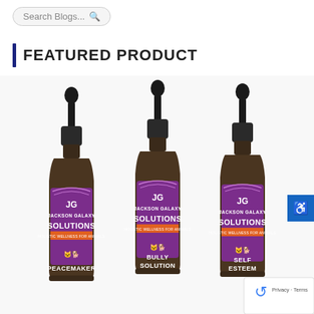Search Blogs...
FEATURED PRODUCT
[Figure (photo): Three amber dropper bottles of Jackson Galaxy Solutions products with purple labels: Peacemaker, Bully Solution, and Self Esteem. Each bottle has the Jackson Galaxy Solutions logo and the tagline Holistic Wellness for Animals.]